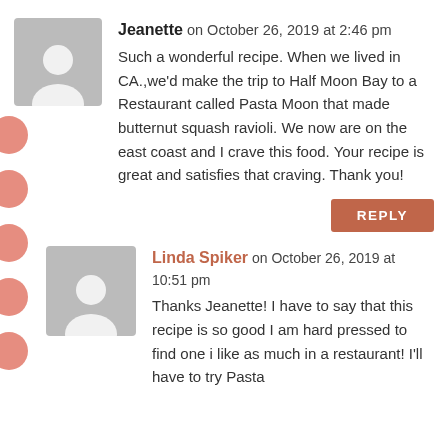Jeanette on October 26, 2019 at 2:46 pm
Such a wonderful recipe. When we lived in CA.,we'd make the trip to Half Moon Bay to a Restaurant called Pasta Moon that made butternut squash ravioli. We now are on the east coast and I crave this food. Your recipe is great and satisfies that craving. Thank you!
REPLY
Linda Spiker on October 26, 2019 at 10:51 pm
Thanks Jeanette! I have to say that this recipe is so good I am hard pressed to find one i like as much in a restaurant! I'll have to try Pasta